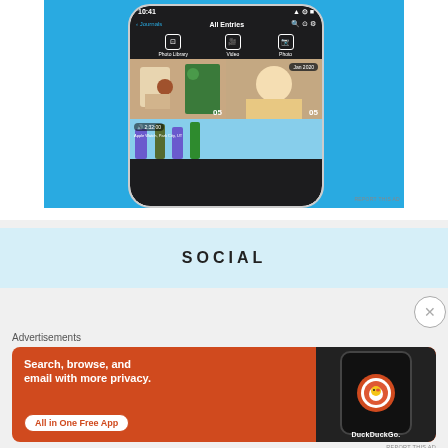[Figure (screenshot): App screenshot showing a photo journaling app (All Entries view) on a mobile phone, with a blue background. Shows photo grid with Jan 2020 label, '05' numbers, and a timer 2:32:00 with Apple Watch, Park City, UT text.]
REPORT THIS AD
SOCIAL
[Figure (screenshot): DuckDuckGo advertisement with orange background. Text: 'Search, browse, and email with more privacy. All in One Free App'. Shows DuckDuckGo app icon on a dark phone mockup.]
REPORT THIS AD